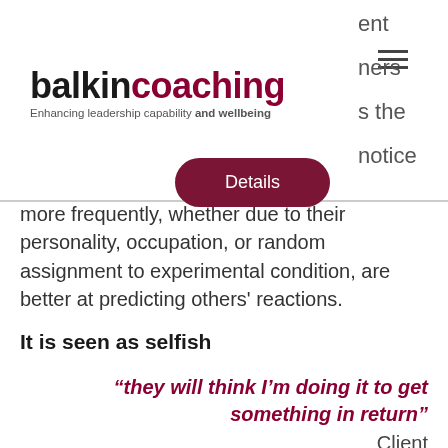[Figure (logo): Balkin Coaching logo with tagline 'Enhancing leadership capability and wellbeing']
more frequently, whether due to their personality, occupation, or random assignment to experimental condition, are better at predicting others' reactions.
It is seen as selfish
“they will think I’m doing it to get something in return”
Client
There is a perception that giving